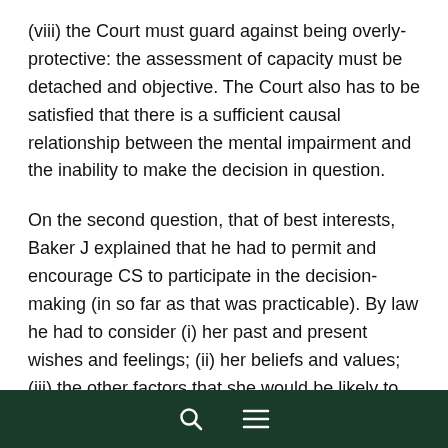(viii) the Court must guard against being overly-protective: the assessment of capacity must be detached and objective. The Court also has to be satisfied that there is a sufficient causal relationship between the mental impairment and the inability to make the decision in question.
On the second question, that of best interests, Baker J explained that he had to permit and encourage CS to participate in the decision-making (in so far as that was practicable). By law he had to consider (i) her past and present wishes and feelings; (ii) her beliefs and values; (iii) the other factors that she would be likely to consider if she were able to do so; (iv) the views of anyone engaged in caring for her or interested in her welfare as what would be in her best interests. The case law reflected the importance of looking at CS' welfare in the widest sense (not just medical but social and